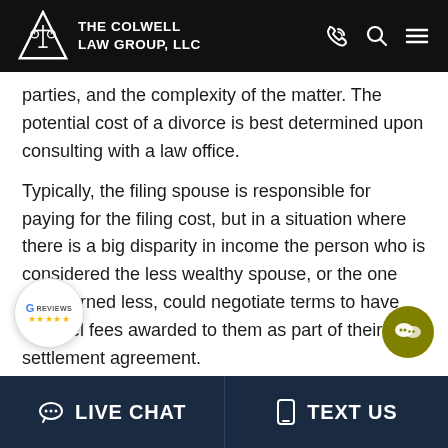THE COLWELL LAW GROUP, LLC
parties, and the complexity of the matter. The potential cost of a divorce is best determined upon consulting with a law office.
Typically, the filing spouse is responsible for paying for the filing cost, but in a situation where there is a big disparity in income the person who is considered the less wealthy spouse, or the one who earned less, could negotiate terms to have counsel fees awarded to them as part of their settlement agreement.
Is Mediation Required in a Divorce?
LIVE CHAT   TEXT US